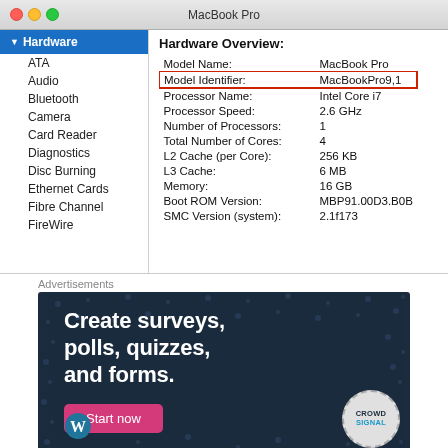MacBook Pro
▼ Hardware
ATA
Audio
Bluetooth
Camera
Card Reader
Diagnostics
Disc Burning
Ethernet Cards
Fibre Channel
FireWire
Hardware Overview:
| Property | Value |
| --- | --- |
| Model Name: | MacBook Pro |
| Model Identifier: | MacBookPro9,1 |
| Processor Name: | Intel Core i7 |
| Processor Speed: | 2.6 GHz |
| Number of Processors: | 1 |
| Total Number of Cores: | 4 |
| L2 Cache (per Core): | 256 KB |
| L3 Cache: | 6 MB |
| Memory: | 16 GB |
| Boot ROM Version: | MBP91.00D3.B0B |
| SMC Version (system): | 2.1f173 |
Advertisements
[Figure (infographic): Advertisement banner for CrowdSignal survey tool. Dark navy background with white bold text reading 'Create surveys, polls, quizzes, and forms.' Pink 'Start now' button. WordPress and CrowdSignal logos.]